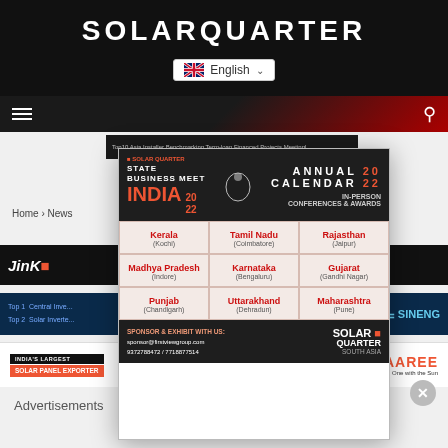SOLARQUARTER
English (language selector)
[Figure (screenshot): SolarQuarter State Business Meet India 2022 Annual Calendar popup/modal overlay showing in-person conferences and awards grid for Kerala (Kochi), Tamil Nadu (Coimbatore), Rajasthan (Jaipur), Madhya Pradesh (Indore), Karnataka (Bengaluru), Gujarat (Gandhi Nagar), Punjab (Chandigarh), Uttarakhand (Dehradun), Maharashtra (Pune). Sponsor contact: sponsor@firstviewgroup.com, 9372788472 / 7718877514. Solar Quarter South Asia branding.]
Home › News
Advertisements